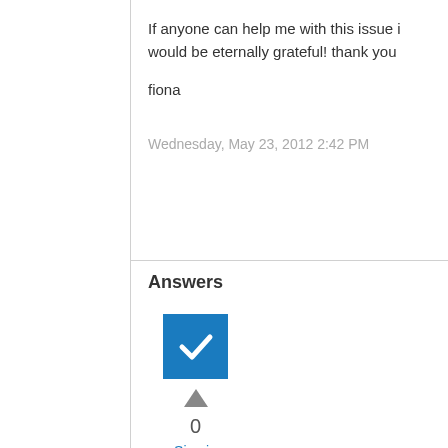If anyone can help me with this issue i would be eternally grateful! thank you
fiona
Wednesday, May 23, 2012 2:42 PM
Answers
[Figure (other): Blue checkbox with white checkmark, upvote arrow, vote count 0, and Sign in to vote link]